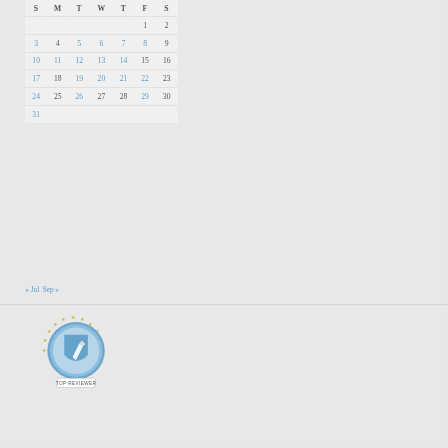| S | M | T | W | T | F | S |
| --- | --- | --- | --- | --- | --- | --- |
|  |  |  |  |  | 1 | 2 |
| 3 | 4 | 5 | 6 | 7 | 8 | 9 |
| 10 | 11 | 12 | 13 | 14 | 15 | 16 |
| 17 | 18 | 19 | 20 | 21 | 22 | 23 |
| 24 | 25 | 26 | 27 | 28 | 29 | 30 |
| 31 |  |  |  |  |  |  |
« Jul   Sep »
[Figure (logo): Top Reviewer badge: circular seal with star border, blue shield/pen icon, text TOP REVIEWER at bottom]